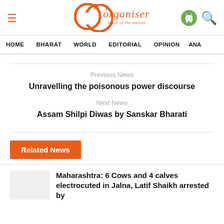[Figure (logo): Organiser magazine logo - orange O circle with bird, orange text 'organiser' and subtitle 'voice of the nation']
HOME  BHARAT  WORLD  EDITORIAL  OPINION  ANA
Previous News
Unravelling the poisonous power discourse
Next News
Assam Shilpi Diwas by Sanskar Bharati
Related News
Maharashtra: 6 Cows and 4 calves electrocuted in Jalna, Latif Shaikh arrested by